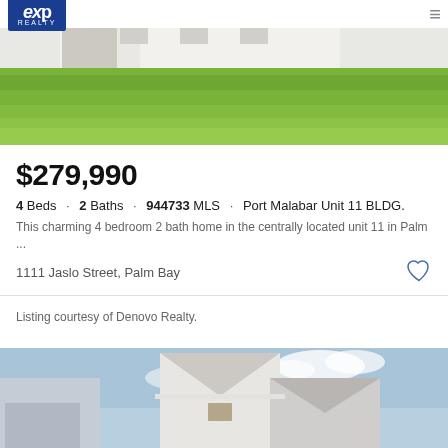eXp Realty
[Figure (photo): Exterior photo of a house showing green lawn in the foreground and white house facade in background]
$279,990
4 Beds · 2 Baths · 944733 MLS · Port Malabar Unit 11 BLDG.
This charming 4 bedroom 2 bath home in the centrally located unit 11 in Palm ...
1111 Jaslo Street, Palm Bay
Listing courtesy of Denovo Realty.
[Figure (photo): Exterior photo of a residential home showing roofline and siding against a partly cloudy sky]